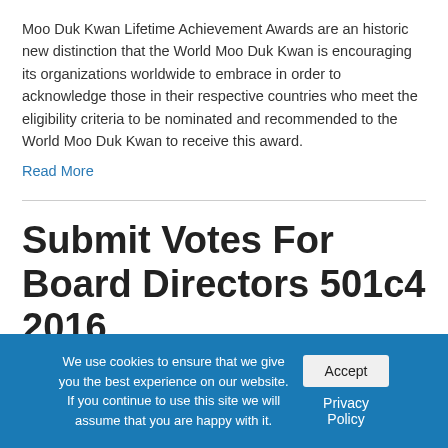Moo Duk Kwan Lifetime Achievement Awards are an historic new distinction that the World Moo Duk Kwan is encouraging its organizations worldwide to embrace in order to acknowledge those in their respective countries who meet the eligibility criteria to be nominated and recommended to the World Moo Duk Kwan to receive this award.
Read More
Submit Votes For Board Directors 501c4 2016
By Soo Bahk Do Federation | 11/18/2016 | 0
We use cookies to ensure that we give you the best experience on our website. If you continue to use this site we will assume that you are happy with it.